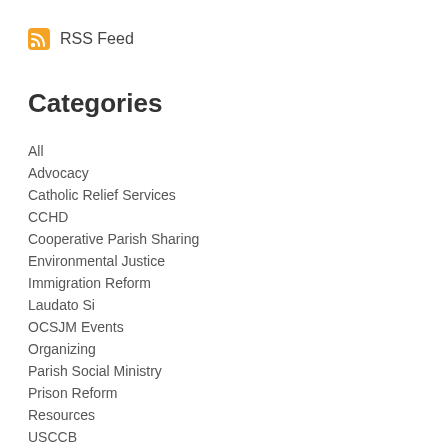[Figure (logo): RSS feed icon - orange rounded square with white RSS symbol]
RSS Feed
Categories
All
Advocacy
Catholic Relief Services
CCHD
Cooperative Parish Sharing
Environmental Justice
Immigration Reform
Laudato Si
OCSJM Events
Organizing
Parish Social Ministry
Prison Reform
Resources
USCCB
Young Adults